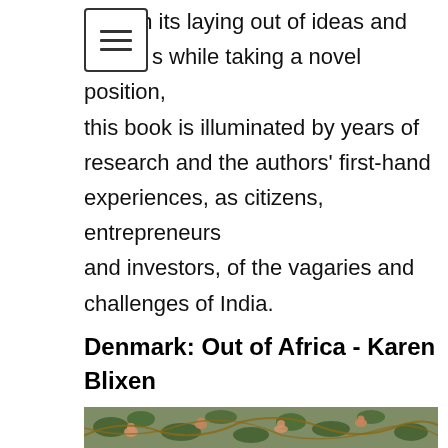lucid in its laying out of ideas and arguments while taking a novel position, this book is illuminated by years of research and the authors' first-hand experiences, as citizens, entrepreneurs and investors, of the vagaries and challenges of India.
Denmark: Out of Africa - Karen Blixen
[Figure (photo): Decorative tapestry image showing monkeys and animals among foliage and tree branches with colorful medieval-style illustration]